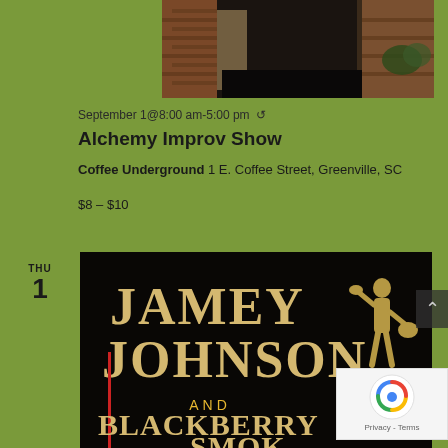[Figure (photo): Interior hallway photo showing brick wall and corridor at Coffee Underground venue]
September 1@8:00 am-5:00 pm ↺
Alchemy Improv Show
Coffee Underground 1 E. Coffee Street, Greenville, SC
$8 – $10
THU
1
[Figure (photo): Concert promotional poster for Jamey Johnson and Blackberry Smoke on black background with vintage western typography]